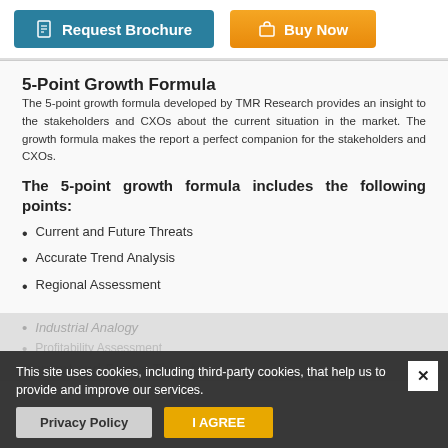[Figure (screenshot): Two buttons: 'Request Brochure' (teal) and 'Buy Now' (orange)]
5-Point Growth Formula
The 5-point growth formula developed by TMR Research provides an insight to the stakeholders and CXOs about the current situation in the market. The growth formula makes the report a perfect companion for the stakeholders and CXOs.
The 5-point growth formula includes the following points:
Current and Future Threats
Accurate Trend Analysis
Regional Assessment
Industrial Analogy
Current and Future Threats
This site uses cookies, including third-party cookies, that help us to provide and improve our services.